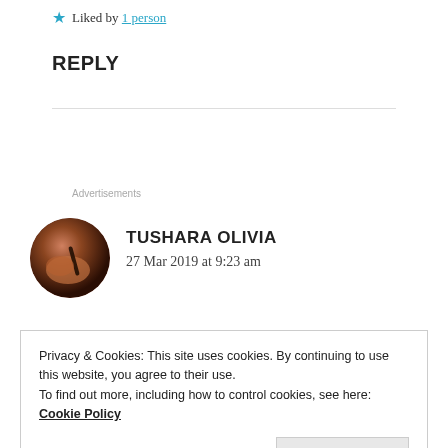★ Liked by 1 person
REPLY
Advertisements
[Figure (photo): Circular avatar photo of a person writing with a pen, shown in dark warm tones.]
TUSHARA OLIVIA
27 Mar 2019 at 9:23 am
Privacy & Cookies: This site uses cookies. By continuing to use this website, you agree to their use.
To find out more, including how to control cookies, see here: Cookie Policy
Close and accept